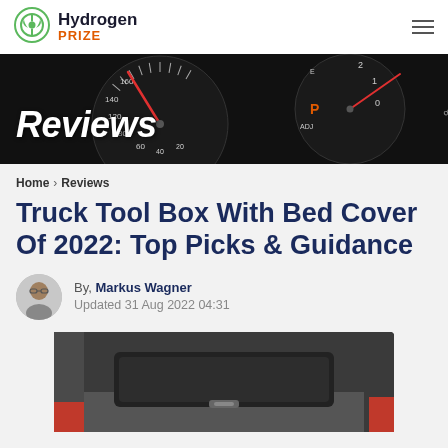Hydrogen PRIZE
[Figure (photo): Car dashboard speedometer and gauges with dark background and red accent needle, with 'Reviews' text overlay]
Home > Reviews
Truck Tool Box With Bed Cover Of 2022: Top Picks & Guidance
By, Markus Wagner
Updated 31 Aug 2022 04:31
[Figure (photo): Truck bed interior showing a tool box with black lining, partial view of red vehicle body]